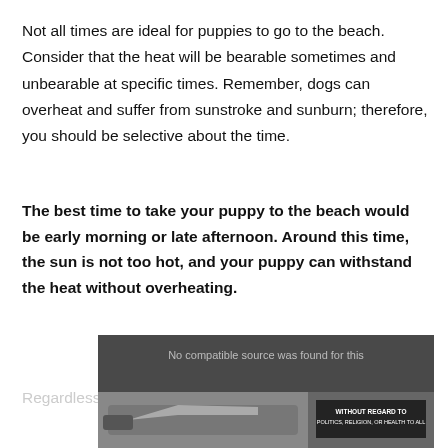Not all times are ideal for puppies to go to the beach. Consider that the heat will be bearable sometimes and unbearable at specific times. Remember, dogs can overheat and suffer from sunstroke and sunburn; therefore, you should be selective about the time.
The best time to take your puppy to the beach would be early morning or late afternoon. Around this time, the sun is not too hot, and your puppy can withstand the heat without overheating.
[Figure (screenshot): An advertisement overlay showing an airplane being loaded with cargo. Text reads 'No compatible source was found for this' with a badge reading 'WITHOUT REGARD TO POLITICS, RELIGION, OR HEALTH TO ALL'.]
Regardless of when you go, always bring something to